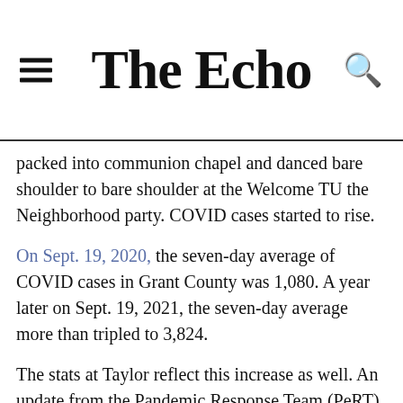The Echo
packed into communion chapel and danced bare shoulder to bare shoulder at the Welcome TU the Neighborhood party. COVID cases started to rise.
On Sept. 19, 2020, the seven-day average of COVID cases in Grant County was 1,080. A year later on Sept. 19, 2021, the seven-day average more than tripled to 3,824.
The stats at Taylor reflect this increase as well. An update from the Pandemic Response Team (PeRT) on Sept. 4, 2020, reported only four students and employees in active isolation. About a year later on Sept. 22, 2021, PeRT reported 18 students and two employees in active isolation.